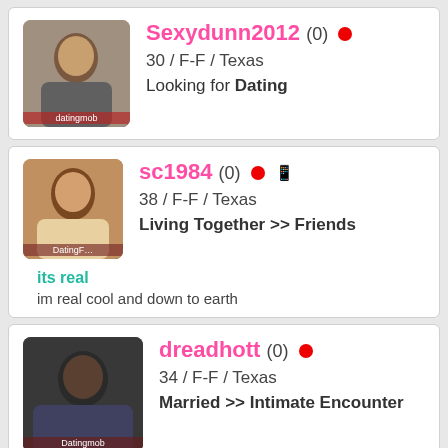[Figure (photo): Profile card 1: user Sexydunn2012, avatar photo, 30/F-F/Texas, Looking for Dating]
Sexydunn2012 (0) • 30 / F-F / Texas Looking for Dating
[Figure (photo): Profile card 2: user sc1984, avatar photo, 38/F-F/Texas, Living Together >> Friends, tagline: its real, snippet: im real cool and down to earth]
sc1984 (0) • 📱 38 / F-F / Texas Living Together >> Friends its real im real cool and down to earth
[Figure (photo): Profile card 3: user dreadhott, avatar photo, 34/F-F/Texas, Married >> Intimate Encounter, tagline: Looking for our + 1, snippet: Down to earth couple Looking for bi sexy ladies or couples donngolay yah]
dreadhott (0) • 34 / F-F / Texas Married >> Intimate Encounter Looking for our + 1 Down to earth couple Looking for bi sexy ladies or couples donngolay yah